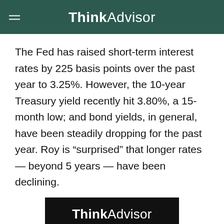ThinkAdvisor
The Fed has raised short-term interest rates by 225 basis points over the past year to 3.25%. However, the 10-year Treasury yield recently hit 3.80%, a 15-month low; and bond yields, in general, have been steadily dropping for the past year. Roy is “surprised” that longer rates — beyond 5 years — have been declining.
[Figure (logo): ThinkAdvisor ALM Reprints & Licensing advertisement banner with text 'Need thought']